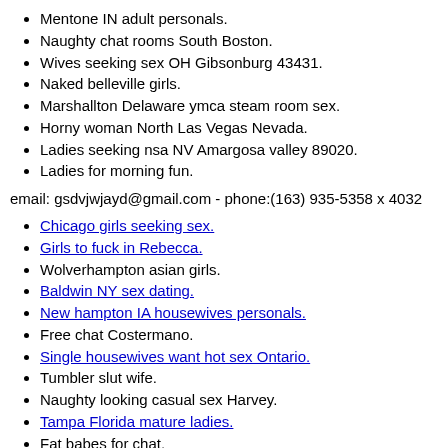Mentone IN adult personals.
Naughty chat rooms South Boston.
Wives seeking sex OH Gibsonburg 43431.
Naked belleville girls.
Marshallton Delaware ymca steam room sex.
Horny woman North Las Vegas Nevada.
Ladies seeking nsa NV Amargosa valley 89020.
Ladies for morning fun.
email: gsdvjwjayd@gmail.com - phone:(163) 935-5358 x 4032
Chicago girls seeking sex.
Girls to fuck in Rebecca.
Wolverhampton asian girls.
Baldwin NY sex dating.
New hampton IA housewives personals.
Free chat Costermano.
Single housewives want hot sex Ontario.
Tumbler slut wife.
Naughty looking casual sex Harvey.
Tampa Florida mature ladies.
Fat babes for chat.
Woman want nsa Brinckerhoff.
Adult seeking real sex Jefferson City.
Sexy chicks looking for sex Luzern.